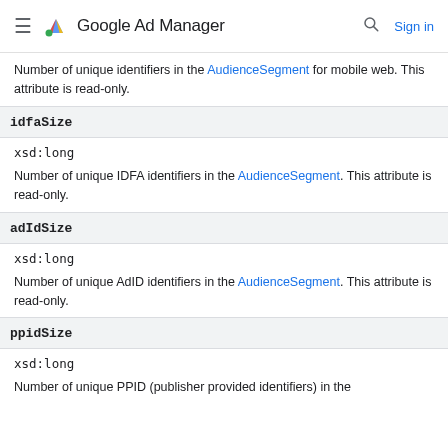Google Ad Manager
Number of unique identifiers in the AudienceSegment for mobile web. This attribute is read-only.
idfaSize
xsd:long
Number of unique IDFA identifiers in the AudienceSegment. This attribute is read-only.
adIdSize
xsd:long
Number of unique AdID identifiers in the AudienceSegment. This attribute is read-only.
ppidSize
xsd:long
Number of unique PPID (publisher provided identifiers) in the